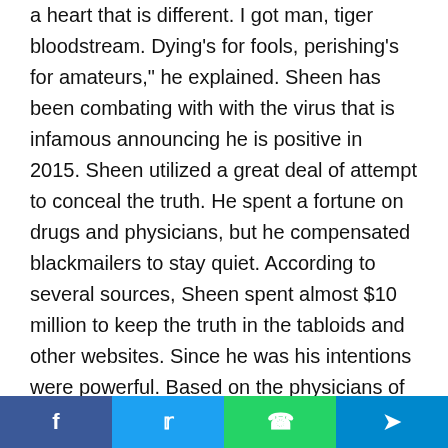a heart that is different. I got man, tiger bloodstream. Dying's for fools, perishing's for amateurs," he explained. Sheen has been combating with with the virus that is infamous announcing he is positive in 2015. Sheen utilized a great deal of attempt to conceal the truth. He spent a fortune on drugs and physicians, but he compensated blackmailers to stay quiet. According to several sources, Sheen spent almost $10 million to keep the truth in the tabloids and other websites. Since he was his intentions were powerful. Based on the physicians of Sheen, the drugs were powerful,
Facebook | Twitter | WhatsApp | Telegram